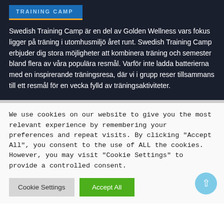[Figure (logo): Swedish Training Camp logo on blue background with gold underline]
Swedish Training Camp är en del av Golden Wellness vars fokus ligger på träning i utomhusmiljö året runt. Swedish Training Camp erbjuder dig stora möjligheter att kombinera träning och semester bland flera av våra populära resmål. Varför inte ladda batterierna med en inspirerande träningsresa, där vi i grupp reser tillsammans till ett resmål för en vecka fylld av träningsaktiviteter.
We use cookies on our website to give you the most relevant experience by remembering your preferences and repeat visits. By clicking "Accept All", you consent to the use of ALL the cookies. However, you may visit "Cookie Settings" to provide a controlled consent.